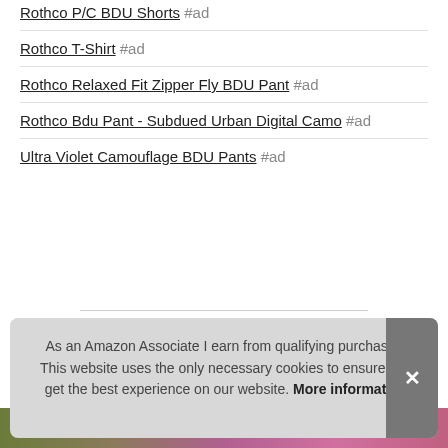Rothco P/C BDU Shorts #ad
Rothco T-Shirt #ad
Rothco Relaxed Fit Zipper Fly BDU Pant #ad
Rothco Bdu Pant - Subdued Urban Digital Camo #ad
Ultra Violet Camouflage BDU Pants #ad
Military Cargo BDU Shorts Tactical 6 Pocket UN...
As an Amazon Associate I earn from qualifying purchases. This website uses the only necessary cookies to ensure you get the best experience on our website. More information